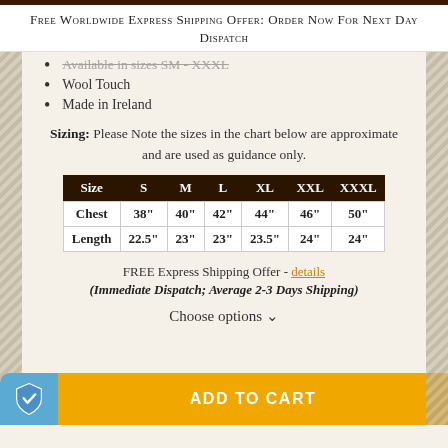Free Worldwide Express Shipping Offer: Order Now For Next Day Dispatch
Available in sizes SM - XXXL
Wool Touch
Made in Ireland
Sizing: Please Note the sizes in the chart below are approximate and are used as guidance only.
| Size | S | M | L | XL | XXL | XXXL |
| --- | --- | --- | --- | --- | --- | --- |
| Chest | 38" | 40" | 42" | 44" | 46" | 50" |
| Length | 22.5" | 23" | 23" | 23.5" | 24" | 24" |
FREE Express Shipping Offer - details
(Immediate Dispatch; Average 2-3 Days Shipping)
Choose options ∨
ADD TO CART